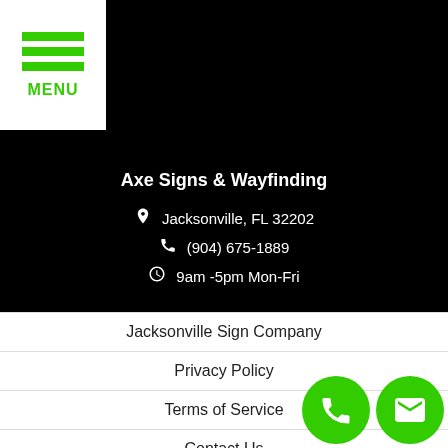[Figure (screenshot): Menu button with three green horizontal lines and MENU label in green on white background, top-left corner]
Axe Signs & Wayfinding
Jacksonville, FL 32202
(904) 675-1889
9am -5pm Mon-Fri
Jacksonville Sign Company
Privacy Policy
Terms of Service
Contact Us